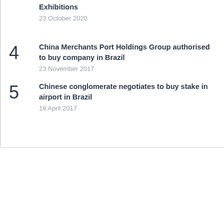Exhibitions
23 October 2020
4
China Merchants Port Holdings Group authorised to buy company in Brazil
23 November 2017
5
Chinese conglomerate negotiates to buy stake in airport in Brazil
19 April 2017